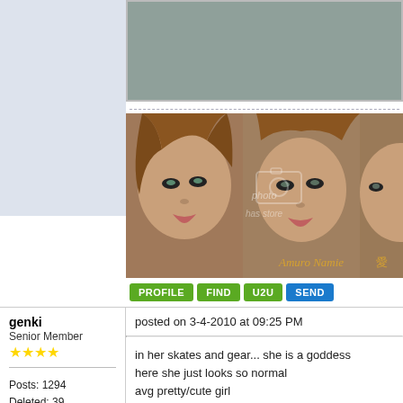[Figure (photo): Gray photo placeholder at top of main content area]
[Figure (photo): Photo collage of Amuro Namie - three close-up facial shots of a young Asian woman with light brown hair. Text overlay reads 'Amuro Namie' in gold. Photobucket watermark visible.]
PROFILE  FIND  U2U  SEND
genki
Senior Member
posted on 3-4-2010 at 09:25 PM
Posts: 1294
Deleted: 39
Registered: 10-9-2006
in her skates and gear... she is a goddess
here she just looks so normal
avg pretty/cute girl